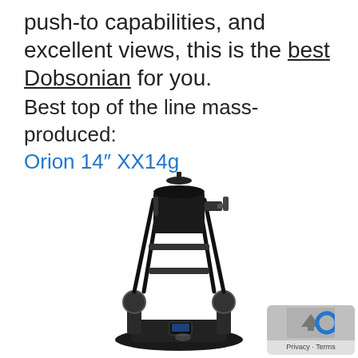push-to capabilities, and excellent views, this is the best Dobsonian for you.
Best top of the line mass-produced: Orion 14″ XX14g
[Figure (photo): A Dobsonian telescope (Orion 14" XX14g) shown in black with truss tube design, on a rocker box mount, viewed from a slightly elevated angle.]